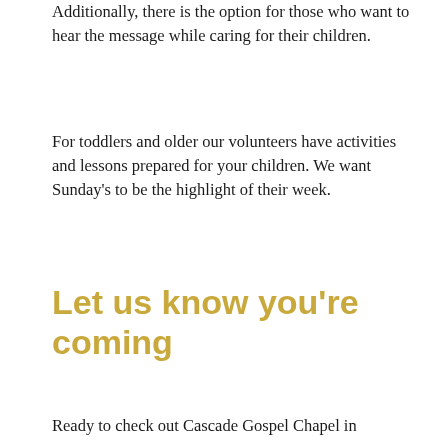Additionally, there is the option for those who want to hear the message while caring for their children.
For toddlers and older our volunteers have activities and lessons prepared for your children. We want Sunday’s to be the highlight of their week.
Let us know you’re coming
Ready to check out Cascade Gospel Chapel in